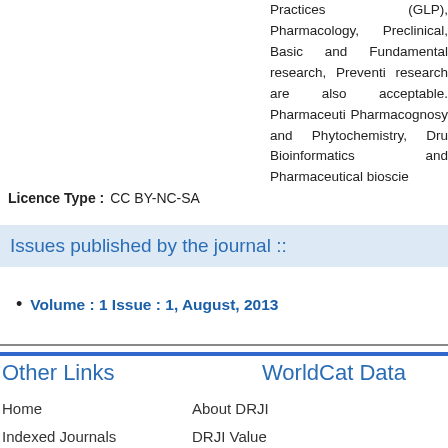Practices (GLP), Pharmacology, Preclinical, Basic and Fundamental research, Preventive research are also acceptable. Pharmaceutical, Pharmacognosy and Phytochemistry, Drug, Bioinformatics and Pharmaceutical bioscie...
Licence Type :  CC BY-NC-SA
Issues published by the journal ::
Volume : 1 Issue : 1, August, 2013
Other Links
WorldCat Data
Home
Indexed Journals
Site Statistics
Editor's List
Contact Us
About DRJI
DRJI Value
FAQ's
Submit Journal